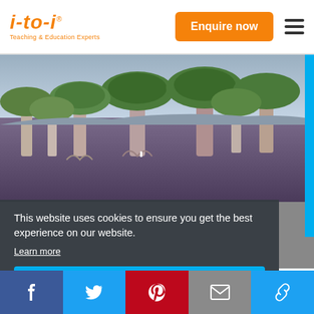[Figure (logo): i-to-i Teaching & Education Experts logo in orange italic text]
Enquire now
[Figure (photo): Photograph of dragon blood trees (Dracaena cinnabari) on Socotra island, showing distinctive umbrella-shaped tree canopies in a surreal landscape]
This website uses cookies to ensure you get the best experience on our website.
Learn more
Got it!
[Figure (infographic): Social media sharing bar with Facebook, Twitter, Pinterest, Email, and Link icons]